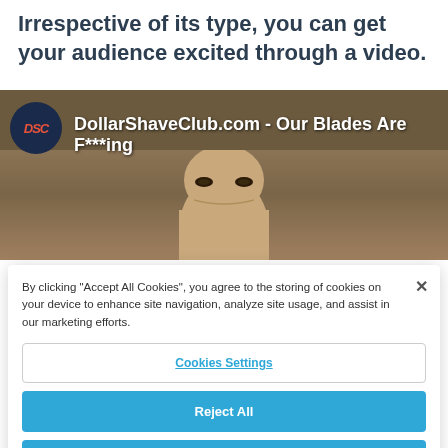Irrespective of its type, you can get your audience excited through a video.
[Figure (screenshot): YouTube video thumbnail showing DollarShaveClub.com - Our Blades Are F***ing, with DSC logo and a man's face partially visible]
By clicking "Accept All Cookies", you agree to the storing of cookies on your device to enhance site navigation, analyze site usage, and assist in our marketing efforts.
Cookies Settings
Reject All
Accept All Cookies